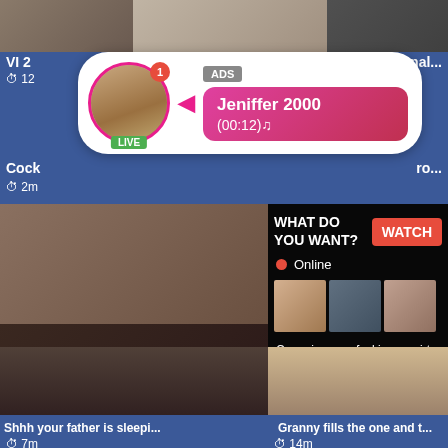[Figure (screenshot): Adult video website screenshot showing thumbnails and an advertisement notification popup. Top area shows video thumbnails. A notification popup overlays the top portion showing a profile avatar with LIVE badge, ADS tag, and a pink gradient message bubble reading 'Jeniffer 2000 (00:12)'. Main content area shows a large video thumbnail on the left and an ad overlay on the right with 'WHAT DO YOU WANT? WATCH' button, Online status, small thumbnails, and text 'Cumming, ass fucking, squirt or... ADS'. Bottom section shows two video thumbnails with captions 'Shhh your father is sleepi...' and 'Granny fills the one and t...'. A bottom strip shows two more thumbnails with clock icons showing 7m and 14m.]
VI 2
nal...
⏱ 12
ADS
Jeniffer  2000
(00:12)🎵
LIVE
WHAT DO YOU WANT?
WATCH
Online
Cumming, ass fucking, squirt or...
• ADS
Cock
ro...
⏱ 2m
Shhh your father is sleepi...
Granny fills the one and t...
⏱ 7m
⏱ 14m